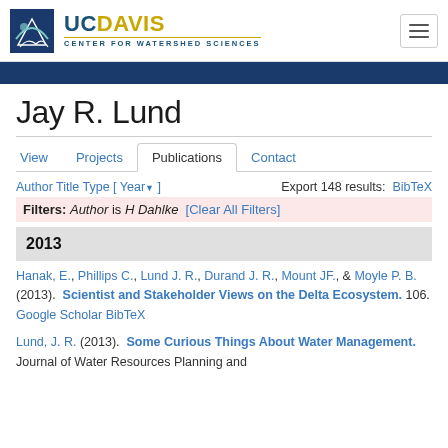UC Davis Center for Watershed Sciences
Jay R. Lund
View | Projects | Publications | Contact
Author Title Type [ Year ▼ ]   Export 148 results: BibTeX
Filters: Author is H Dahlke [Clear All Filters]
2013
Hanak, E., Phillips C., Lund J. R., Durand J. R., Mount JF., & Moyle P. B. (2013). Scientist and Stakeholder Views on the Delta Ecosystem. 106. Google Scholar BibTeX
Lund, J. R. (2013). Some Curious Things About Water Management. Journal of Water Resources Planning and